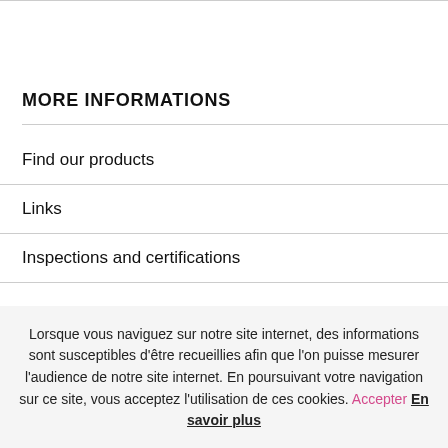MORE INFORMATIONS
Find our products
Links
Inspections and certifications
Lorsque vous naviguez sur notre site internet, des informations sont susceptibles d'être recueillies afin que l'on puisse mesurer l'audience de notre site internet. En poursuivant votre navigation sur ce site, vous acceptez l'utilisation de ces cookies. Accepter En savoir plus